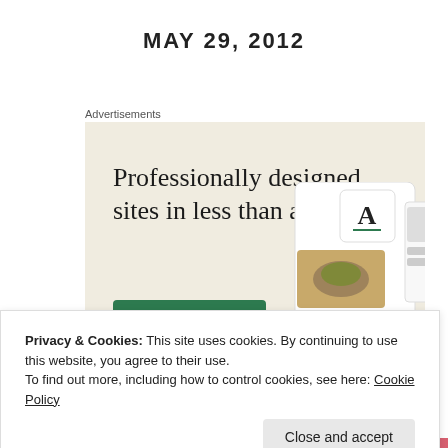MAY 29, 2012
Advertisements
[Figure (illustration): Advertisement banner with beige background. Large text reads 'Professionally designed sites in less than a week' with a green 'Explore options' button and website mockup screenshots on the right.]
Privacy & Cookies: This site uses cookies. By continuing to use this website, you agree to their use.
To find out more, including how to control cookies, see here: Cookie Policy
Close and accept